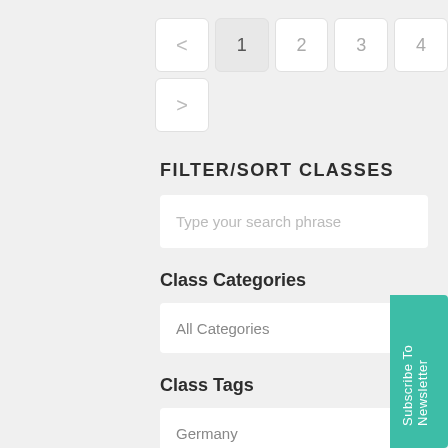< 1 2 3 4 >
FILTER/SORT CLASSES
Type your search phrase
Class Categories
All Categories
Class Tags
Germany
Subscribe To Newsletter